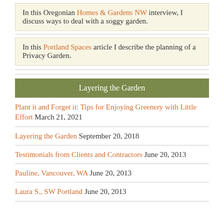In this Oregonian Homes & Gardens NW interview, I discuss ways to deal with a soggy garden.
In this Portland Spaces article I describe the planning of a Privacy Garden.
Layering the Garden
Plant it and Forget it: Tips for Enjoying Greenery with Little Effort March 21, 2021
Layering the Garden September 20, 2018
Testimonials from Clients and Contractors June 20, 2013
Pauline, Vancouver, WA June 20, 2013
Laura S., SW Portland June 20, 2013